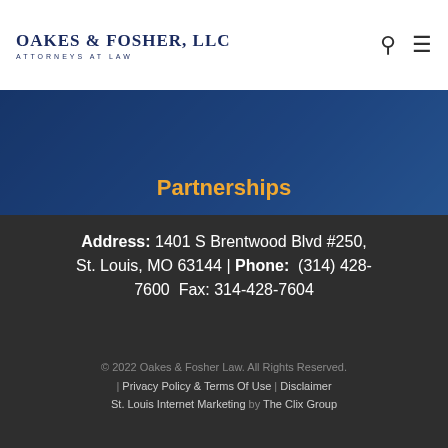Oakes & Fosher, LLC — Attorneys At Law
Partnerships
Address: 1401 S Brentwood Blvd #250, St. Louis, MO 63144 | Phone: (314) 428-7600  Fax: 314-428-7604
© 2022 Oakes & Fosher Law. All Rights Reserved. | Privacy Policy & Terms Of Use | Disclaimer St. Louis Internet Marketing by The Clix Group